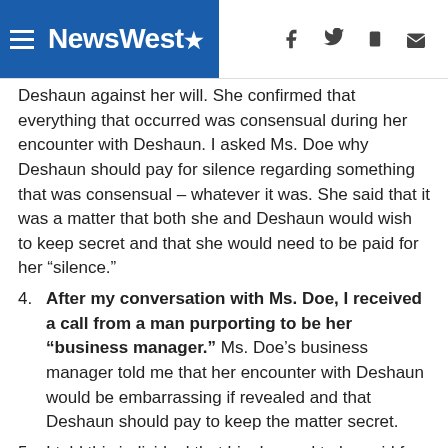NewsWest9
Deshaun against her will. She confirmed that everything that occurred was consensual during her encounter with Deshaun. I asked Ms. Doe why Deshaun should pay for silence regarding something that was consensual – whatever it was. She said that it was a matter that both she and Deshaun would wish to keep secret and that she would need to be paid for her “silence.”
4. After my conversation with Ms. Doe, I received a call from a man purporting to be her “business manager.” Ms. Doe’s business manager told me that her encounter with Deshaun would be embarrassing if revealed and that Deshaun should pay to keep the matter secret.
5. I told this individual that his demand to be paid for not revealing a consensual interaction between two adults was extortion.
6. He responded, “It’s not extortion, it’s blackmail.”
7. I informed this individual that Deshaun would not be